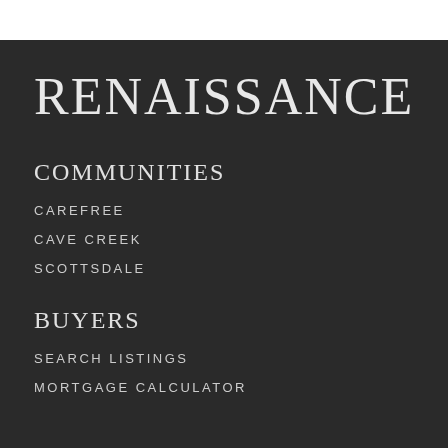RENAISSANCE
COMMUNITIES
CAREFREE
CAVE CREEK
SCOTTSDALE
BUYERS
SEARCH LISTINGS
MORTGAGE CALCULATOR